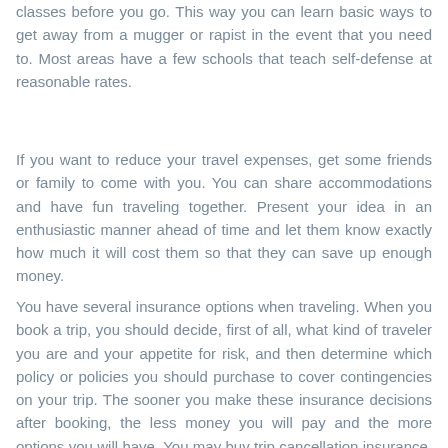classes before you go. This way you can learn basic ways to get away from a mugger or rapist in the event that you need to. Most areas have a few schools that teach self-defense at reasonable rates.
If you want to reduce your travel expenses, get some friends or family to come with you. You can share accommodations and have fun traveling together. Present your idea in an enthusiastic manner ahead of time and let them know exactly how much it will cost them so that they can save up enough money.
You have several insurance options when traveling. When you book a trip, you should decide, first of all, what kind of traveler you are and your appetite for risk, and then determine which policy or policies you should purchase to cover contingencies on your trip. The sooner you make these insurance decisions after booking, the less money you will pay and the more options you will have. You may buy trip cancellation insurance, a popular option; insurance against loss from luggage, etc.